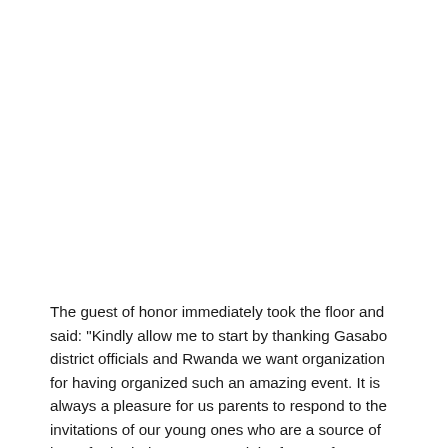The guest of honor immediately took the floor and said: "Kindly allow me to start by thanking Gasabo district officials and Rwanda we want organization for having organized such an amazing event. It is always a pleasure for us parents to respond to the invitations of our young ones who are a source of hope for both the present and the future of our country. Being here talking about our identity and trying to come up with resolutions on the way